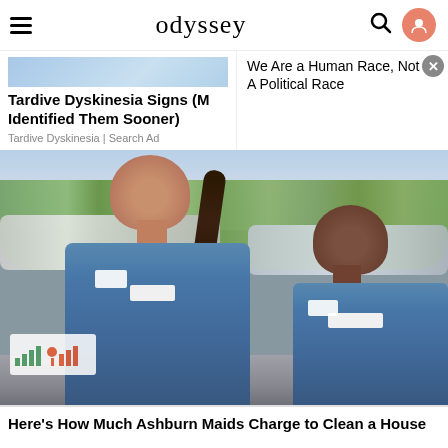odyssey
Tardive Dyskinesia Signs (M Identified Them Sooner)
Tardive Dyskinesia | Search Ad
We Are a Human Race, Not A Political Race
[Figure (photo): Two women wearing blue uniform shirts standing outdoors in front of cars and green trees. A cleaning services company logo is visible on a car door in the lower left.]
Here's How Much Ashburn Maids Charge to Clean a House